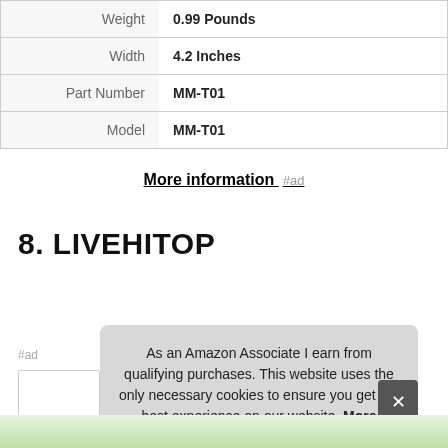| Property | Value |
| --- | --- |
| Weight | 0.99 Pounds |
| Width | 4.2 Inches |
| Part Number | MM-T01 |
| Model | MM-T01 |
More information #ad
8. LIVEHITOP
As an Amazon Associate I earn from qualifying purchases. This website uses the only necessary cookies to ensure you get the best experience on our website. More information